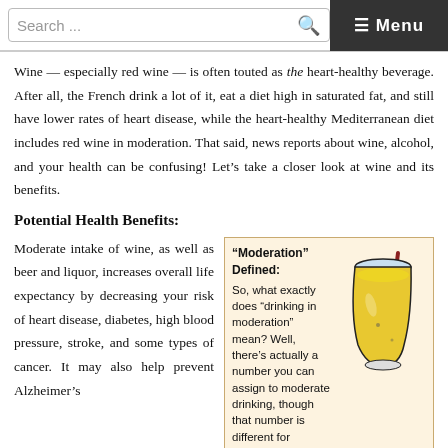Search ... Menu
Wine — especially red wine — is often touted as the heart-healthy beverage. After all, the French drink a lot of it, eat a diet high in saturated fat, and still have lower rates of heart disease, while the heart-healthy Mediterranean diet includes red wine in moderation. That said, news reports about wine, alcohol, and your health can be confusing! Let's take a closer look at wine and its benefits.
Potential Health Benefits:
Moderate intake of wine, as well as beer and liquor, increases overall life expectancy by decreasing your risk of heart disease, diabetes, high blood pressure, stroke, and some types of cancer. It may also help prevent Alzheimer's
[Figure (illustration): Sidebar box with light yellow/cream background and border. Title: "Moderation" Defined. Text explaining what drinking in moderation means and that there is a number assignable to moderate drinking, different for women and men. Includes an illustrated yellow drink in a glass with a straw. Bullet point beginning: For women,...]
For women,